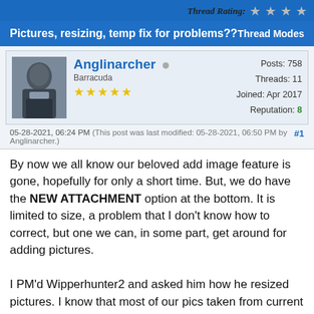Thread Rating: ★★★★
Pictures, resizing, temp fix for problems??
Thread Modes
[Figure (photo): Avatar photo of user Anglinarcher holding a fish]
Anglinarcher
Barracuda
★★★★★
Posts: 758
Threads: 11
Joined: Apr 2017
Reputation: 8
05-28-2021, 06:24 PM (This post was last modified: 05-28-2021, 06:50 PM by Anglinarcher.)  #1
By now we all know our beloved add image feature is gone, hopefully for only a short time.  But, we do have the NEW ATTACHMENT option at the bottom.  It is limited to size, a problem that I don't know how to correct, but one we can, in some part, get around for adding pictures.

I PM'd Wipperhunter2 and asked him how he resized pictures.  I know that most of our pics taken from current phones and cameras are way over 2MB so something has to be done to them.  He said to "go for